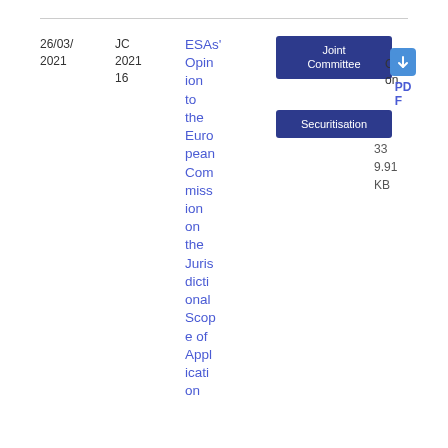26/03/2021
JC 2021 16
ESAs' Opinion to the European Commission on the Jurisdictional Scope of Application
Joint Committee
Opinion
Securitisation
PDF
339.91 KB